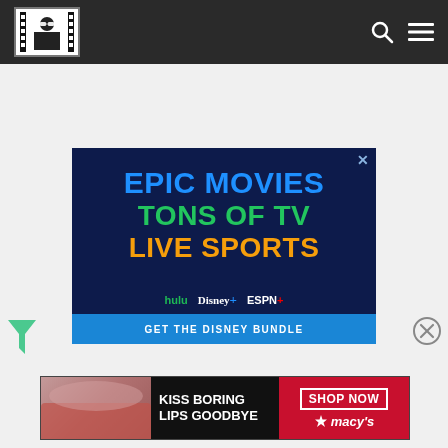Website navigation header with logo, search icon, and menu icon
[Figure (screenshot): Disney Bundle advertisement: EPIC MOVIES / TONS OF TV / LIVE SPORTS with Hulu, Disney+, ESPN+ logos and GET THE DISNEY BUNDLE button]
[Figure (screenshot): Macy's advertisement: KISS BORING LIPS GOODBYE with SHOP NOW button and Macy's star logo]